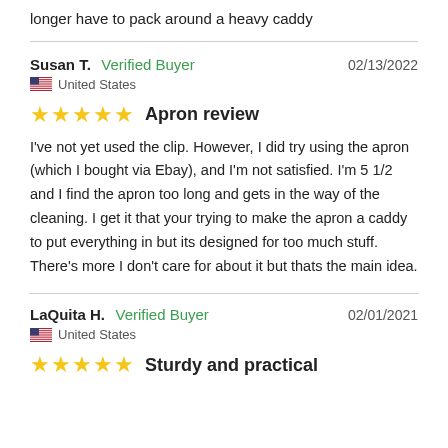longer have to pack around a heavy caddy
Susan T.  Verified Buyer  02/13/2022
🇺🇸 United States
★★★★★  Apron review
I've not yet used the clip. However, I did try using the apron (which I bought via Ebay), and I'm not satisfied. I'm 5 1/2 and I find the apron too long and gets in the way of the cleaning. I get it that your trying to make the apron a caddy to put everything in but its designed for too much stuff. There's more I don't care for about it but thats the main idea.
LaQuita H.  Verified Buyer  02/01/2021
🇺🇸 United States
★★★★★  Sturdy and practical